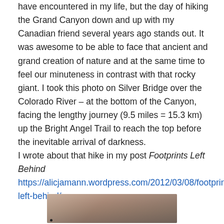have encountered in my life, but the day of hiking the Grand Canyon down and up with my Canadian friend several years ago stands out. It was awesome to be able to face that ancient and grand creation of nature and at the same time to feel our minuteness in contrast with that rocky giant. I took this photo on Silver Bridge over the Colorado River – at the bottom of the Canyon, facing the lengthy journey (9.5 miles = 15.3 km) up the Bright Angel Trail to reach the top before the inevitable arrival of darkness.
I wrote about that hike in my post Footprints Left Behind https://alicjamann.wordpress.com/2012/03/08/footprints-left-behind/
[Figure (photo): Partial photo of a person's face, cropped at the top of the page, outdoors with blurred green background]